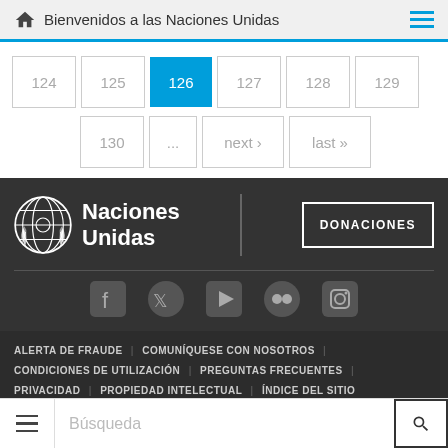Bienvenidos a las Naciones Unidas
124
125
126
127
128
129
130
...
next ›
last »
[Figure (logo): United Nations emblem logo with Naciones Unidas text and DONACIONES button]
[Figure (infographic): Social media icons: Facebook, Twitter, YouTube, Flickr, Instagram]
ALERTA DE FRAUDE | COMUNÍQUESE CON NOSOTROS | CONDICIONES DE UTILIZACIÓN | PREGUNTAS FRECUENTES | PRIVACIDAD | PROPIEDAD INTELECTUAL | ÍNDICE DEL SITIO
Búsqueda